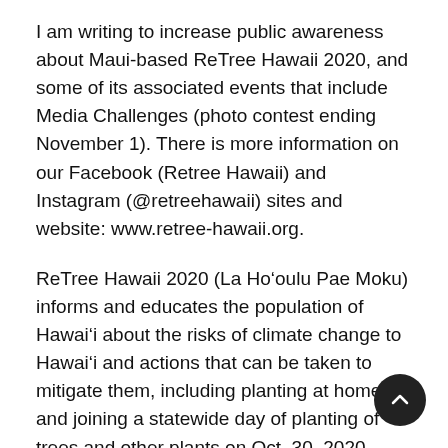I am writing to increase public awareness about Maui-based ReTree Hawaii 2020, and some of its associated events that include Media Challenges (photo contest ending November 1). There is more information on our Facebook (Retree Hawaii) and Instagram (@retreehawaii) sites and website: www.retree-hawaii.org.
ReTree Hawaii 2020 (La Ho‘oulu Pae Moku) informs and educates the population of Hawai‘i about the risks of climate change to Hawai‘i and actions that can be taken to mitigate them, including planting at home and joining a statewide day of planting of trees and other plants on Oct. 30, 2020.
The climate of the Earth is worsening, and one of